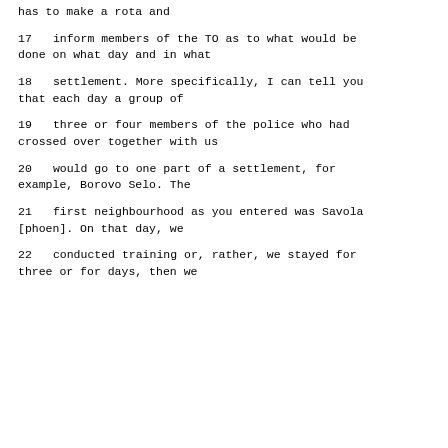has to make a rota and
17      inform members of the TO as to what would be done on what day and in what
18      settlement.  More specifically, I can tell you that each day a group of
19      three or four members of the police who had crossed over together with us
20      would go to one part of a settlement, for example, Borovo Selo.  The
21      first neighbourhood as you entered was Savola [phoen].  On that day, we
22      conducted training or, rather, we stayed for three or for days, then we